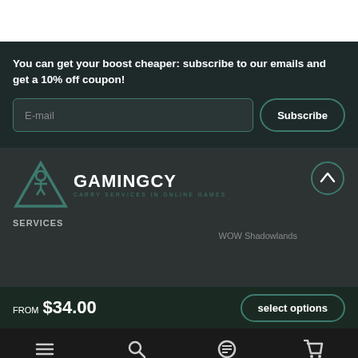You can get your boost cheaper: subscribe to our emails and get a 10% off coupon!
[Figure (screenshot): Email input field with placeholder 'E-mail' and a Subscribe button with teal border]
[Figure (logo): GamingCY logo - teal triangle icon with GAMINGCY text and tagline CARRY SERVICES IN ONLINE GAMES]
SERVICES
WOW Shadowlands
FROM $34.00
select options
Menu  Search  Chat  Cart